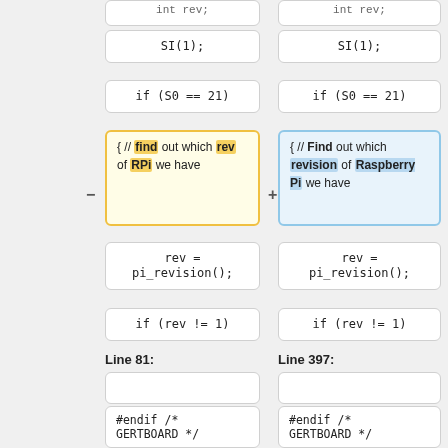[Figure (screenshot): Code diff view showing two columns of code blocks comparing original and revised versions. Left column shows abbreviated identifiers (rev, RPi) and right column shows full names (revision, Raspberry Pi). Highlighted blocks show differences.]